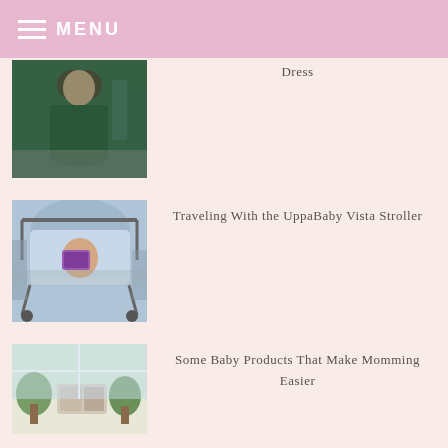MENU
[Figure (photo): Woman in green dress walking outdoors at night]
Dress
[Figure (photo): Child in UppaBaby Vista stroller on sidewalk]
Traveling With the UppaBaby Vista Stroller
[Figure (photo): Baby products on a table]
Some Baby Products That Make Momming Easier